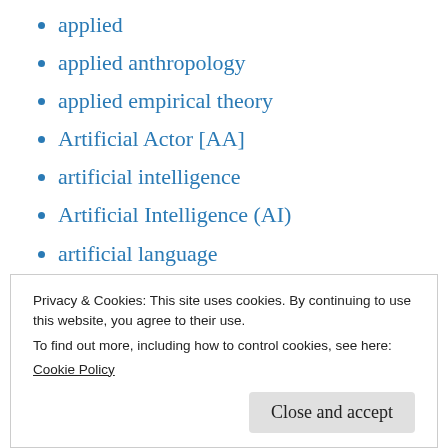applied
applied anthropology
applied empirical theory
Artificial Actor [AA]
artificial intelligence
Artificial Intelligence (AI)
artificial language
Artificial Meaning Device [AMD]
Artificial Neural Networks
assimilation
assistive actor
Privacy & Cookies: This site uses cookies. By continuing to use this website, you agree to their use.
To find out more, including how to control cookies, see here:
Cookie Policy
Close and accept